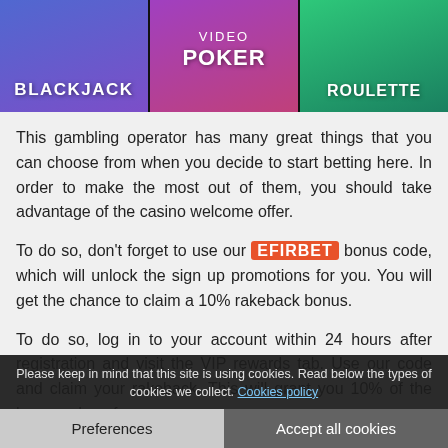[Figure (illustration): Three casino game cards: Blackjack (blue/purple gradient), Video Poker (purple/pink gradient), Roulette (green gradient), each with white bold text labels]
This gambling operator has many great things that you can choose from when you decide to start betting here. In order to make the most out of them, you should take advantage of the casino welcome offer.
To do so, don't forget to use our EFIRBET bonus code, which will unlock the sign up promotions for you. You will get the chance to claim a 10% rakeback bonus.
To do so, log in to your account within 24 hours after registration and visit the VIP rewards tab. Use our code and claim your rakeback. This will grant you 10% of the house edge of every wager.
Please keep in mind that this site is using cookies. Read below the types of cookies we collect. Cookies policy